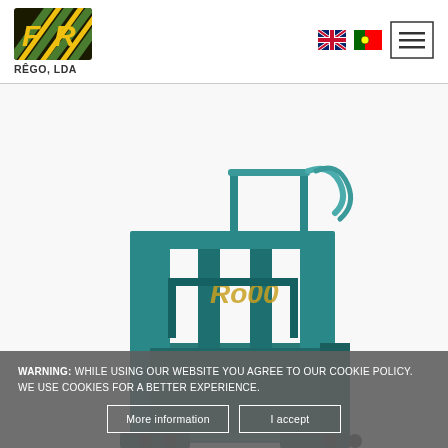[Figure (logo): FR Rêgo, LDA company logo with green/yellow diagonal striped background and FR letters in bold yellow]
RÊGO, LDA
[Figure (illustration): UK flag icon for language selection]
[Figure (illustration): Portuguese flag icon for language selection]
[Figure (illustration): Hamburger menu icon (three horizontal lines in a box)]
[Figure (photo): 3D render of a large industrial machinery/press machine in teal/blue-green color with structural frame and railings, with 'Ro00' text visible on the machine body]
WARNING: WHILE USING OUR WEBSITE YOU AGREE TO OUR COOKIE POLICY. WE USE COOKIES FOR A BETTER EXPERIENCE.
More information
I accept